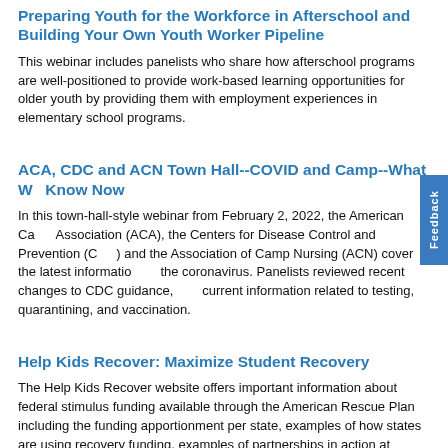Preparing Youth for the Workforce in Afterschool and Building Your Own Youth Worker Pipeline
This webinar includes panelists who share how afterschool programs are well-positioned to provide work-based learning opportunities for older youth by providing them with employment experiences in elementary school programs.
ACA, CDC and ACN Town Hall--COVID and Camp--What We Know Now
In this town-hall-style webinar from February 2, 2022, the American Camp Association (ACA), the Centers for Disease Control and Prevention (CDC), and the Association of Camp Nursing (ACN) cover the latest information on the coronavirus. Panelists reviewed recent changes to CDC guidance, and current information related to testing, quarantining, and vaccination.
Help Kids Recover: Maximize Student Recovery
The Help Kids Recover website offers important information about federal stimulus funding available through the American Rescue Plan including the funding apportionment per state, examples of how states are using recovery funding, examples of partnerships in action at different levels.